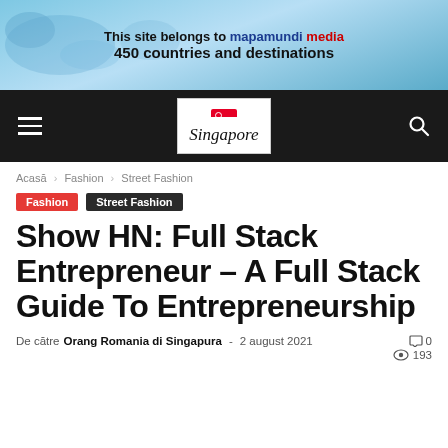[Figure (infographic): Banner advertisement: 'This site belongs to mapamundi media — 450 countries and destinations' with world map background in blue tones]
Navigation bar with hamburger menu, Singapore logo, and search icon
Acasă › Fashion › Street Fashion
Fashion   Street Fashion
Show HN: Full Stack Entrepreneur – A Full Stack Guide To Entrepreneurship
De către Orang Romania di Singapura - 2 august 2021  0  193